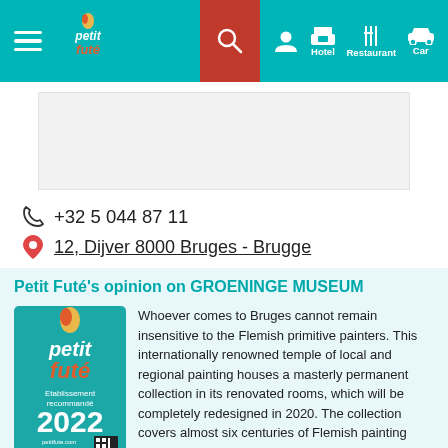Petit Futé — Hotel Restaurant Car navigation header
[Figure (photo): Image placeholder / advertisement area]
+32 5 044 87 11
12, Dijver 8000 Bruges - Brugge
Petit Futé's opinion on GROENINGE MUSEUM
[Figure (logo): Petit Futé 'Etablissement recommandé 2022' badge with teal background, red text, QR code and petitfute.com]
Whoever comes to Bruges cannot remain insensitive to the Flemish primitive painters. This internationally renowned temple of local and regional painting houses a masterly permanent collection in its renovated rooms, which will be completely redesigned in 2020. The collection covers almost six centuries of Flemish painting culture. We start with the works of the great